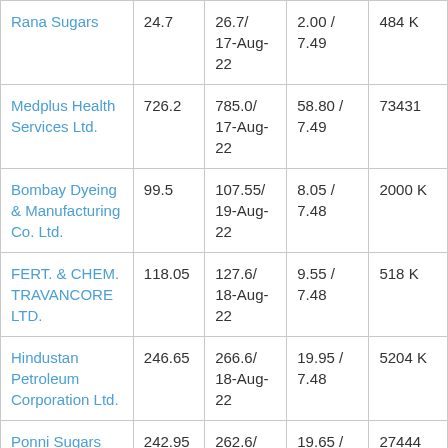| Rana Sugars | 24.7 | 26.7/ 17-Aug-22 | 2.00 / 7.49 | 484 K |
| Medplus Health Services Ltd. | 726.2 | 785.0/ 17-Aug-22 | 58.80 / 7.49 | 73431 |
| Bombay Dyeing & Manufacturing Co. Ltd. | 99.5 | 107.55/ 19-Aug-22 | 8.05 / 7.48 | 2000 K |
| FERT. & CHEM. TRAVANCORE LTD. | 118.05 | 127.6/ 18-Aug-22 | 9.55 / 7.48 | 518 K |
| Hindustan Petroleum Corporation Ltd. | 246.65 | 266.6/ 18-Aug-22 | 19.95 / 7.48 | 5204 K |
| Ponni Sugars (Erode) | 242.95 | 262.6/ 16-Aug-22 | 19.65 / 7.48 | 27444 |